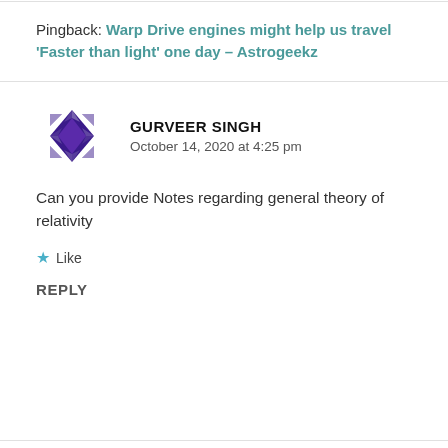Pingback: Warp Drive engines might help us travel 'Faster than light' one day – Astrogeekz
[Figure (illustration): Purple decorative geometric avatar icon for user Gurveer Singh]
GURVEER SINGH
October 14, 2020 at 4:25 pm
Can you provide Notes regarding general theory of relativity
★ Like
REPLY